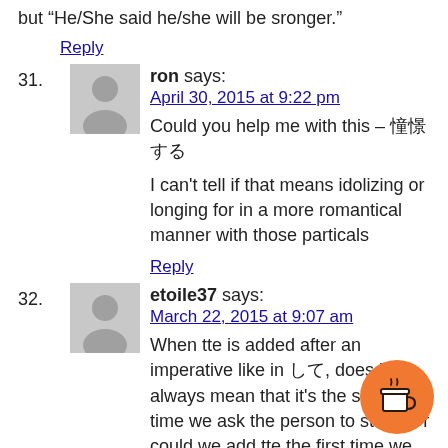but “He/She said he/she will be sronger.”
Reply
31. ron says:
April 30, 2015 at 9:22 pm
Could you help me with this – 羌憪する
I can't tell if that means idolizing or longing for in a more romantical manner with those particals
Reply
32. etoile37 says:
March 22, 2015 at 9:07 am
When tte is added after an imperative like in して, does it always mean that it's the second time we ask the person to stop? Or could we add tte the first time we ask the person to stop, just to add force to the command?